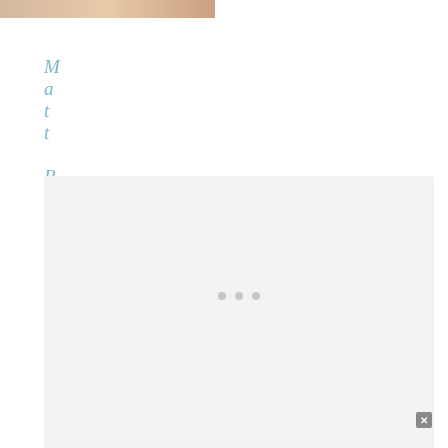[Figure (photo): Partial top strip of a food photo]
Matt Bites
[Figure (screenshot): Large light grey content area with three loading dots, representing an embedded media or ad unit]
[Figure (infographic): Heart/like button (circular, grey-blue) and share button (circular, white) on right side]
WHAT'S NEXT → Kat's Pose
[Figure (infographic): Advertisement banner: Actions speak louder than words. with figure illustration and brand logo]